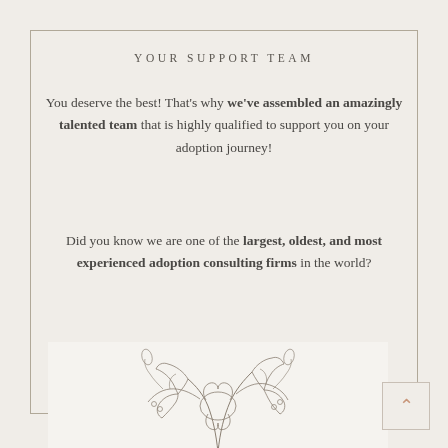YOUR SUPPORT TEAM
You deserve the best! That's why we've assembled an amazingly talented team that is highly qualified to support you on your adoption journey!
Did you know we are one of the largest, oldest, and most experienced adoption consulting firms in the world?
[Figure (illustration): Line art botanical illustration of flowers and leaves/foliage, drawn in a delicate outline style]